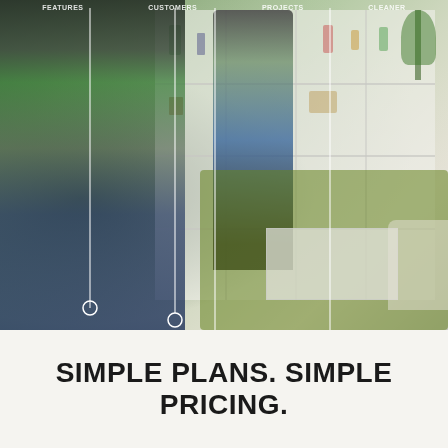[Figure (photo): Photo of cleaning staff: woman in green apron holding cleaning supplies on left, another person cleaning shelves on right, with white shelving unit, green carpet, and living room furniture in background. Vertical connector lines with circle endpoints drop from top labels to positions in the image.]
SIMPLE PLANS. SIMPLE PRICING.